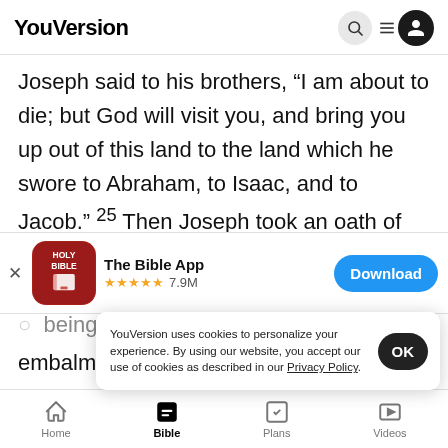YouVersion
Joseph said to his brothers, “I am about to die; but God will visit you, and bring you up out of this land to the land which he swore to Abraham, to Isaac, and to Jacob.” ²⁵ Then Joseph took an oath of the
[Figure (screenshot): App store banner for The Bible App with red icon showing HOLY BIBLE text, 5 stars rating, 7.9M reviews, and Download button]
being a hundred and ten years old; and
embalm
YouVersion uses cookies to personalize your experience. By using our website, you accept our use of cookies as described in our Privacy Policy.
Home  Bible  Plans  Videos